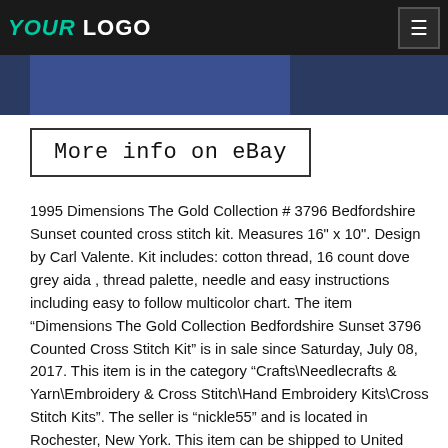YOUR LOGO
[Figure (photo): Dark blue image strip showing partial product photo]
[Figure (screenshot): eBay button: More info on eBay]
1995 Dimensions The Gold Collection # 3796 Bedfordshire Sunset counted cross stitch kit. Measures 16" x 10". Design by Carl Valente. Kit includes: cotton thread, 16 count dove grey aida , thread palette, needle and easy instructions including easy to follow multicolor chart. The item “Dimensions The Gold Collection Bedfordshire Sunset 3796 Counted Cross Stitch Kit” is in sale since Saturday, July 08, 2017. This item is in the category “Crafts\Needlecrafts & Yarn\Embroidery & Cross Stitch\Hand Embroidery Kits\Cross Stitch Kits”. The seller is “nickle55” and is located in Rochester, New York. This item can be shipped to United States, Canada, United Kingdom, Denmark, Romania, Slovakia, Bulgaria, Czech republic, Finland, Hungary, Latvia, Lithuania, Malta, Estonia, Australia, Greece, Portugal, Cyprus, Slovenia, Japan, China, Sweden, South Korea, Indonesia, Taiwan, South africa, Thailand, Belgium, France, Hong Kong, Ireland, Netherlands, Poland, Spain, Italy,